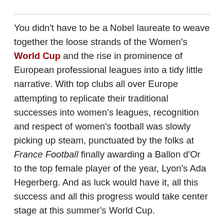You didn't have to be a Nobel laureate to weave together the loose strands of the Women's World Cup and the rise in prominence of European professional leagues into a tidy little narrative. With top clubs all over Europe attempting to replicate their traditional successes into women's leagues, recognition and respect of women's football was slowly picking up steam, punctuated by the folks at France Football finally awarding a Ballon d'Or to the top female player of the year, Lyon's Ada Hegerberg. And as luck would have it, all this success and all this progress would take center stage at this summer's World Cup.